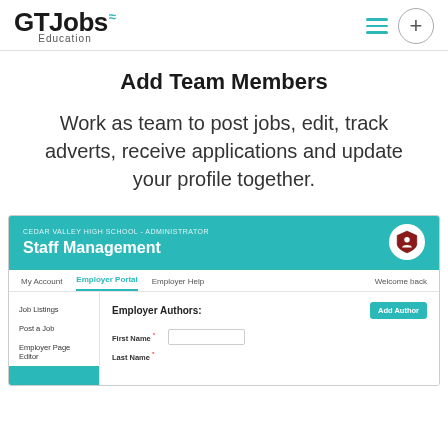[Figure (logo): GTJobs Education logo with teal wifi symbol]
Add Team Members
Work as team to post jobs, edit, track adverts, receive applications and update your profile together.
[Figure (screenshot): Screenshot of GTJobs Education Staff Management interface showing Employer Authors section with Add Author button and form fields for First Name and Last Name]